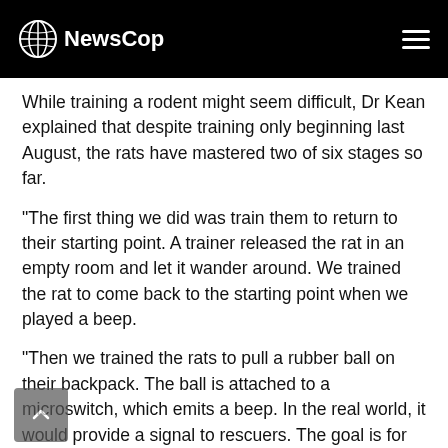NewsCop
While training a rodent might seem difficult, Dr Kean explained that despite training only beginning last August, the rats have mastered two of six stages so far.
“The first thing we did was train them to return to their starting point. A trainer released the rat in an empty room and let it wander around. We trained the rat to come back to the starting point when we played a beep.
“Then we trained the rats to pull a rubber ball on their backpack. The ball is attached to a microswitch, which emits a beep. In the real world, it would provide a signal to rescuers. The goal is for the rat to go over to this mock victim, pull the ball, return to where they were released.”
She added that it took roughly all nine rats “14 sessions to reliably return to base point within 3 seconds of the beep in stage one, and 10 sessions to pull the ball for 3